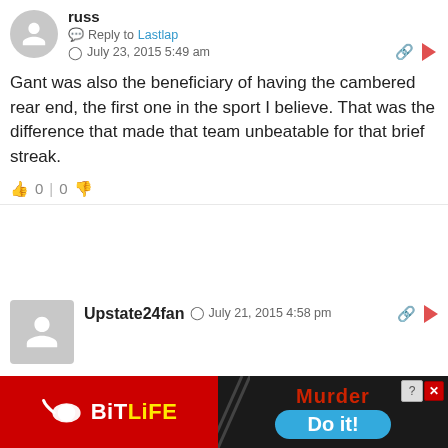russ
Reply to Lastlap
July 23, 2015 5:49 am
Gant was also the beneficiary of having the cambered rear end, the first one in the sport I believe. That was the difference that made that team unbeatable for that brief streak.
0 | 0
Upstate24fan
July 21, 2015 4:58 pm
I think for Tony this is a combination his physical/mental state and the changing rules. You see other drivers struggling with the new rules like
[Figure (screenshot): Advertisement banner for BitLife mobile game showing the BitLife logo on red background on the left, and a black background on the right with 'Murder' text in dark red and a blue 'Do it!' button, along with a close/X button]